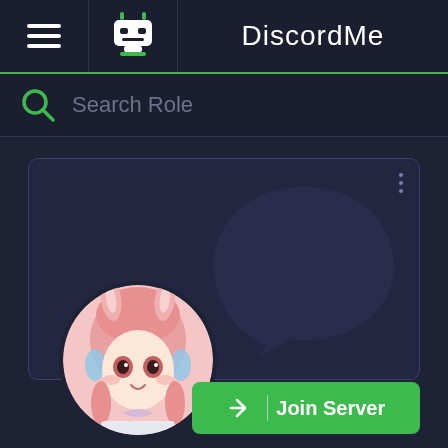DiscordMe
Search Role
[Figure (screenshot): Discord server listing card with anime avatar, chat bubble watermark, three-dot menu, and Join Server button]
Join Server